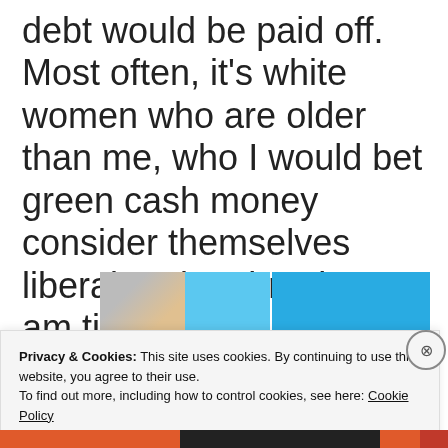debt would be paid off. Most often, it’s white women who are older than me, who I would bet green cash money consider themselves liberal and anti-racist. I am tired.
[Figure (screenshot): A partial advertisement banner showing a lifestyle app or subscription service with blue background, thumbnail images numbered '05', and text 'for life' on the right side.]
Privacy & Cookies: This site uses cookies. By continuing to use this website, you agree to their use.
To find out more, including how to control cookies, see here: Cookie Policy
Close and accept